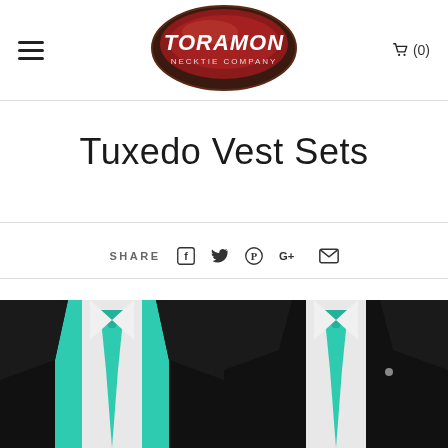Toramon Necktie Company — Navigation header with hamburger menu and cart (0)
Tuxedo Vest Sets
SHARE
SORT BY  Alphabetically, A-Z
[Figure (photo): Two tuxedo vest sets displayed on mannequins, both showing a black tuxedo jacket, white shirt, and bright teal/mint green necktie, with a matching teal vest visible on the left.]